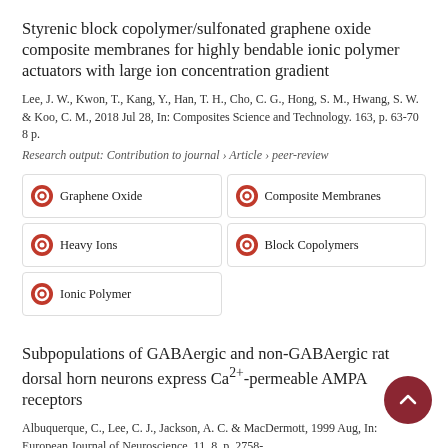Styrenic block copolymer/sulfonated graphene oxide composite membranes for highly bendable ionic polymer actuators with large ion concentration gradient
Lee, J. W., Kwon, T., Kang, Y., Han, T. H., Cho, C. G., Hong, S. M., Hwang, S. W. & Koo, C. M., 2018 Jul 28, In: Composites Science and Technology. 163, p. 63-70 8 p.
Research output: Contribution to journal › Article › peer-review
Graphene Oxide
Composite Membranes
Heavy Ions
Block Copolymers
Ionic Polymer
Subpopulations of GABAergic and non-GABAergic rat dorsal horn neurons express Ca2+-permeable AMPA receptors
Albuquerque, C., Lee, C. J., Jackson, A. C. & MacDermott, 1999 Aug, In: European Journal of Neuroscience. 11, 8, p. 2758-